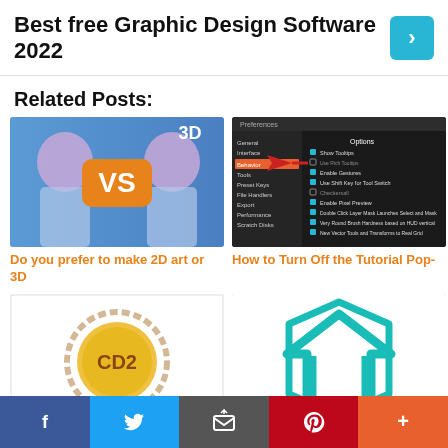Best free Graphic Design Software 2022
Related Posts:
[Figure (screenshot): Thumbnail showing 3D vs 2D art with Frozen Elsa character and VS logo]
Do you prefer to make 2D art or 3D
[Figure (screenshot): Screenshot of a dark-themed software preferences/options dialog with checkboxes and a red arrow pointing to Behavior setting]
How to Turn Off the Tutorial Pop-
[Figure (screenshot): Thumbnail showing a CD2 coin/badge on white background]
[Figure (logo): Teal/cyan NCT house/building logo on white background]
f  Twitter  Email  Pinterest  +